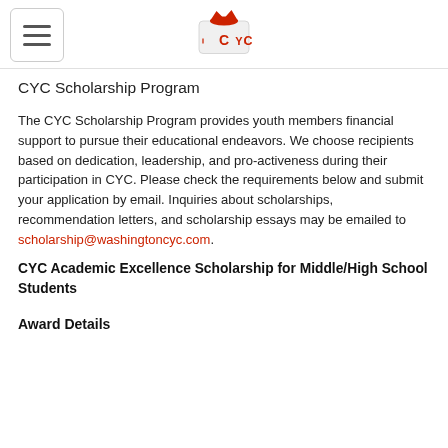CYC logo and navigation
CYC Scholarship Program
The CYC Scholarship Program provides youth members financial support to pursue their educational endeavors. We choose recipients based on dedication, leadership, and pro-activeness during their participation in CYC. Please check the requirements below and submit your application by email. Inquiries about scholarships, recommendation letters, and scholarship essays may be emailed to scholarship@washingtoncyc.com.
CYC Academic Excellence Scholarship for Middle/High School Students
Award Details